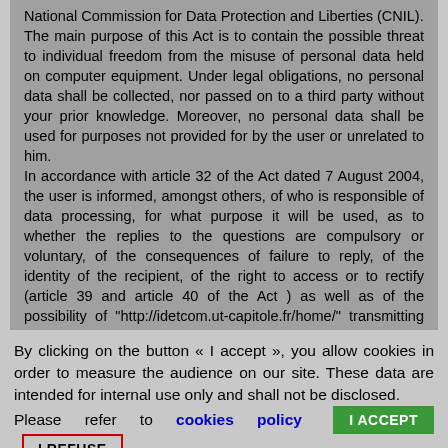National Commission for Data Protection and Liberties (CNIL). The main purpose of this Act is to contain the possible threat to individual freedom from the misuse of personal data held on computer equipment. Under legal obligations, no personal data shall be collected, nor passed on to a third party without your prior knowledge. Moreover, no personal data shall be used for purposes not provided for by the user or unrelated to him. In accordance with article 32 of the Act dated 7 August 2004, the user is informed, amongst others, of who is responsible of data processing, for what purpose it will be used, as to whether the replies to the questions are compulsory or voluntary, of the consequences of failure to reply, of the identity of the recipient, of the right to access or to rectify (article 39 and article 40 of the Act ) as well as of the possibility of "http://idetcom.ut-capitole.fr/home/" transmitting and exploiting personal data.
By clicking on the button « I accept », you allow cookies in order to measure the audience on our site. These data are intended for internal use only and shall not be disclosed. Please refer to cookies policy